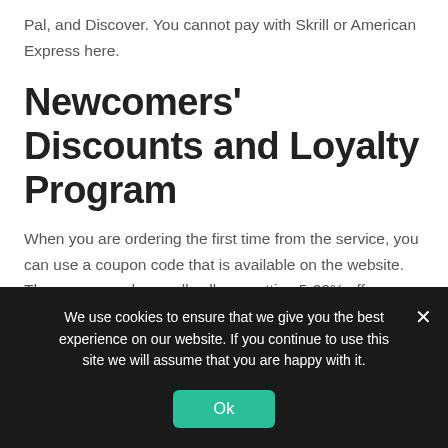Pal, and Discover. You cannot pay with Skrill or American Express here.
Newcomers' Discounts and Loyalty Program
When you are ordering the first time from the service, you can use a coupon code that is available on the website. The coupon code usually allows getting 5-20% off on your first order. Then, after it, you are entering their loyalty program. The loyalty program is very simple: if you spend 500 USD, you will get 5% off, 1000 USD – 10% off. Their discounts are
We use cookies to ensure that we give you the best experience on our website. If you continue to use this site we will assume that you are happy with it.